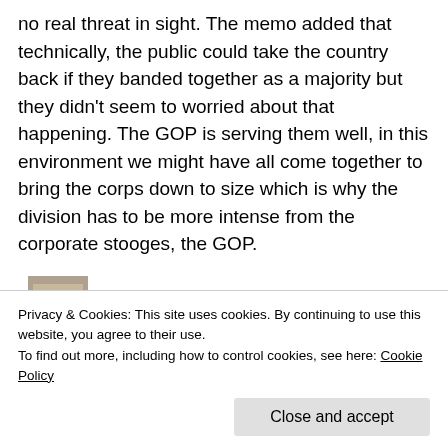no real threat in sight. The memo added that technically, the public could take the country back if they banded together as a majority but they didn't seem to worried about that happening. The GOP is serving them well, in this environment we might have all come together to bring the corps down to size which is why the division has to be more intense from the corporate stooges, the GOP.
[Figure (photo): Small avatar/profile photo thumbnail]
kesmarn : Patsy, that's it in a nutshell. I had a patient this past week say that he was going to come back to the
Privacy & Cookies: This site uses cookies. By continuing to use this website, you agree to their use.
To find out more, including how to control cookies, see here: Cookie Policy